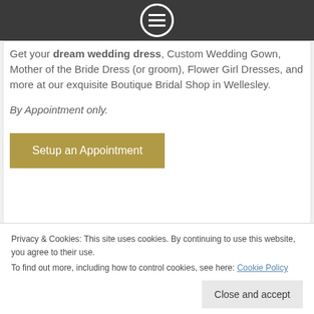[Menu icon in header bar]
Get your dream wedding dress, Custom Wedding Gown, Mother of the Bride Dress (or groom), Flower Girl Dresses, and more at our exquisite Boutique Bridal Shop in Wellesley.
By Appointment only.
Setup an Appointment
Privacy & Cookies: This site uses cookies. By continuing to use this website, you agree to their use. To find out more, including how to control cookies, see here: Cookie Policy
Close and accept